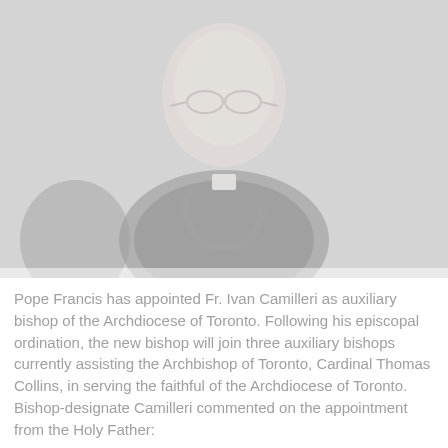[Figure (photo): A faded/washed-out photograph of a bald man wearing glasses and a clerical collar (dark shirt with white collar tab). A circular loading spinner graphic is overlaid in the lower-center of the image. Background is light grey.]
Pope Francis has appointed Fr. Ivan Camilleri as auxiliary bishop of the Archdiocese of Toronto. Following his episcopal ordination, the new bishop will join three auxiliary bishops currently assisting the Archbishop of Toronto, Cardinal Thomas Collins, in serving the faithful of the Archdiocese of Toronto. Bishop-designate Camilleri commented on the appointment from the Holy Father: